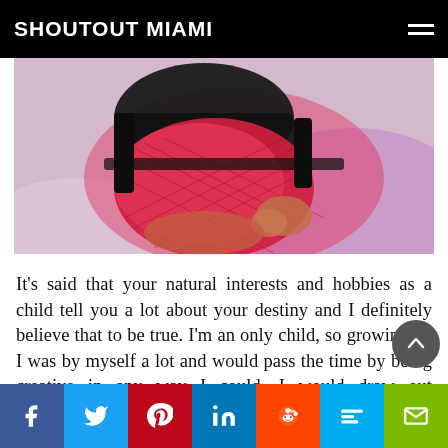SHOUTOUT MIAMI
[Figure (photo): Close-up photo of a person in a red/pink fishnet outfit and black accessories, posed against a light purple/white background with pink lighting.]
It’s said that your natural interests and hobbies as a child tell you a lot about your destiny and I definitely believe that to be true. I’m an only child, so growing up I was by myself a lot and would pass the time by being creative in any way I could. I would draw out characters and create plot lines and fill up photo books with